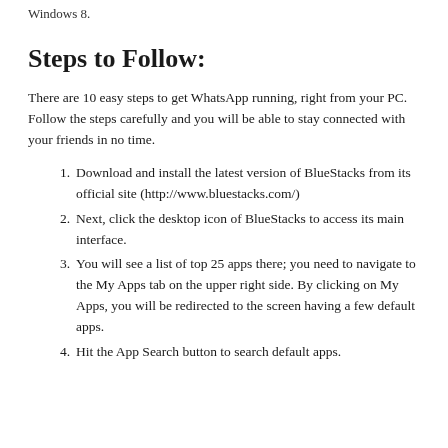Windows 8.
Steps to Follow:
There are 10 easy steps to get WhatsApp running, right from your PC. Follow the steps carefully and you will be able to stay connected with your friends in no time.
Download and install the latest version of BlueStacks from its official site (http://www.bluestacks.com/)
Next, click the desktop icon of BlueStacks to access its main interface.
You will see a list of top 25 apps there; you need to navigate to the My Apps tab on the upper right side. By clicking on My Apps, you will be redirected to the screen having a few default apps.
Hit the App Search button to search default apps.